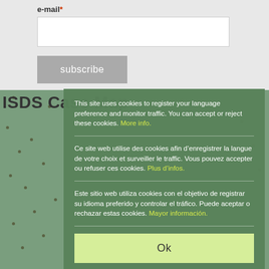e-mail*
subscribe
ISDS Case Map
This site uses cookies to register your language preference and monitor traffic. You can accept or reject these cookies. More info.
Ce site web utilise des cookies afin d’enregistrer la langue de votre choix et surveiller le traffic. Vous pouvez accepter ou refuser ces cookies. Plus d’infos.
Este sitio web utiliza cookies con el objetivo de registrar su idioma preferido y controlar el tráfico. Puede aceptar o rechazar estas cookies. Mayor información.
Ok